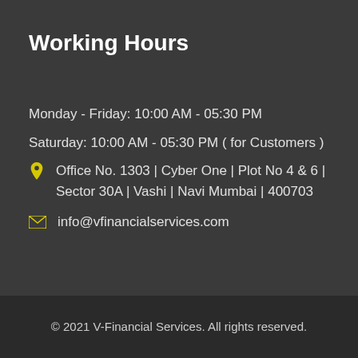Working Hours
Monday – Friday: 10:00 AM – 05:30 PM
Saturday: 10:00 AM – 05:30 PM ( for Customers )
Office No. 1303 | Cyber One | Plot No 4 & 6 | Sector 30A | Vashi | Navi Mumbai | 400703
info@vfinancialservices.com
© 2021 V-Financial Services. All rights reserved.